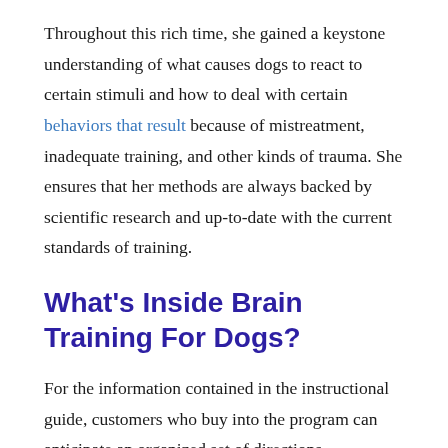Throughout this rich time, she gained a keystone understanding of what causes dogs to react to certain stimuli and how to deal with certain behaviors that result because of mistreatment, inadequate training, and other kinds of trauma. She ensures that her methods are always backed by scientific research and up-to-date with the current standards of training.
What's Inside Brain Training For Dogs?
For the information contained in the instructional guide, customers who buy into the program can anticipate an organized set of directions, instructions, and educational videos that take your dog from a passive observer to one who follows commands. Each step of Brain Training for Dogs was created to facilitate the learning process by incorporating an educational progression system that lets the dog and trainer are taught how communicate, teach and